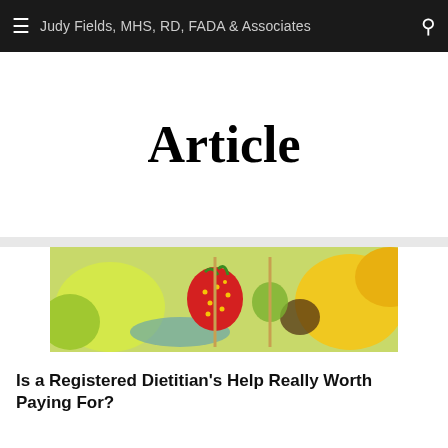Judy Fields, MHS, RD, FADA & Associates
Article
[Figure (photo): Close-up photo of colorful fresh fruits including strawberry, mango, and other fruits on skewers]
Is a Registered Dietitian's Help Really Worth Paying For?